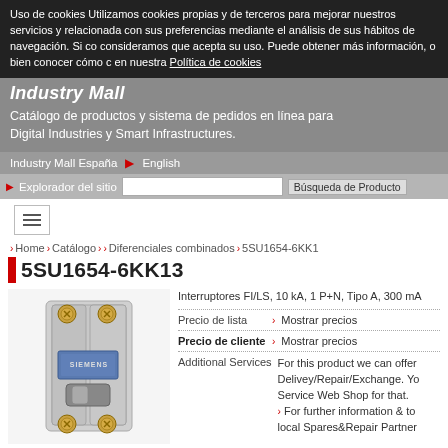Uso de cookies Utilizamos cookies propias y de terceros para mejorar nuestros servicios y relacionada con sus preferencias mediante el análisis de sus hábitos de navegación. Si co consideramos que acepta su uso. Puede obtener más información, o bien conocer cómo c en nuestra Política de cookies
Industry Mall
Catálogo de productos y sistema de pedidos en línea para Digital Industries y Smart Infrastructures.
Industry Mall España  ▶ English
▶ Explorador del sitio   Búsqueda de Producto
> Home > Catálogo > > Diferenciales combinados > 5SU1654-6KK1
5SU1654-6KK13
[Figure (photo): Product photo of Siemens 5SU1654-6KK13 circuit breaker / RCBO device, showing a compact two-pole switching device with gold-colored screw terminals on top and bottom, a blue display window, and a toggle switch mechanism.]
Interruptores FI/LS, 10 kA, 1 P+N, Tipo A, 300 mA
Precio de lista  > Mostrar precios
Precio de cliente  > Mostrar precios
Additional Services  For this product we can offer Delivey/Repair/Exchange. Yo Service Web Shop for that. > For further information & to local Spares&Repair Partner